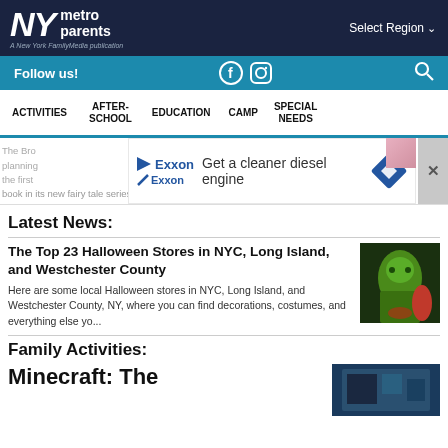NY metro parents — A New York FamilyMedia publication
Select Region
Follow us!
ACTIVITIES  AFTER-SCHOOL  EDUCATION  CAMP  SPECIAL NEEDS
[Figure (screenshot): Exxon advertisement: Get a cleaner diesel engine]
Latest News:
The Top 23 Halloween Stores in NYC, Long Island, and Westchester County
Here are some local Halloween stores in NYC, Long Island, and Westchester County, NY, where you can find decorations, costumes, and everything else yo...
[Figure (photo): Halloween costume characters including Hulk and Iron Man]
Family Activities:
Minecraft: The
[Figure (photo): Minecraft themed image]